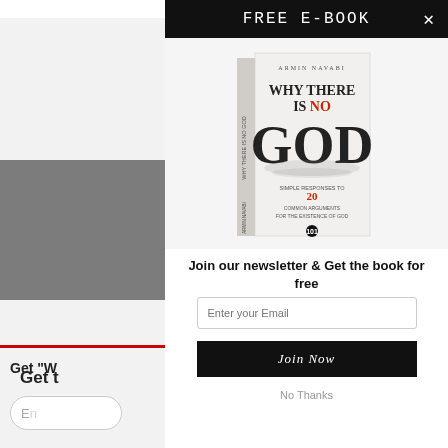FREE E-BOOK
[Figure (photo): Book cover of 'Why There Is No God' by Armin Navabi, white cover with large dark smoky GOD text, subtitle mentions 20 common arguments for the existence of God]
Join our newsletter & Get the book for free
Enter your Email
Join Now
No Thanks